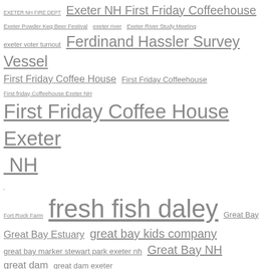EXETER NH FIRE DEPT Exeter NH First Friday Coffeehouse Exeter Powder Keg Beer Festival exeter river Exeter River Study Meeting exeter voter turnout Ferdinand Hassler Survey Vessel First Friday Coffee House First Friday Coffeehouse First friday Coffeehouse Exeter NH First Friday Coffee House Exeter NH fresh fish daley Fort Rock Farm Great Bay Great Bay Estuary great bay kids company great bay marker stewart park exeter nh Great Bay NH great dam great dam exeter great dam removal exeter nh Gundalow launch Portsmouth NH IOKA EXETER NH ioka theater IOKA Theater Exeter NH Jady Hill Sewer Rehab Jeff Hyland Ironwood Design Exeter NH Julie Gilman Exeter NH Katharyn Wheeler-Smith student Lara Brickers new book making the tough choices Mark Damsell Exeter memorial bridge portsmouth NH mighty sam mclain exeter nh Moving Forward Ever Forward neal zweig NH Norris Brook culverts Exeter NH Pease Golf Course Pease Tradeport Portsmouth Ave detour Exeter NH portsmouth ave Fall paving exeter nh 2014 President Obama Portsmouth NH pride of ownership Seacoast Family Promise Seacoast Interfaith Hospitality Network Spring Squamscott River Squamscott River Exeter NH Swasey Parkway Exeter NH time to embrace who you gonna call? winter robins